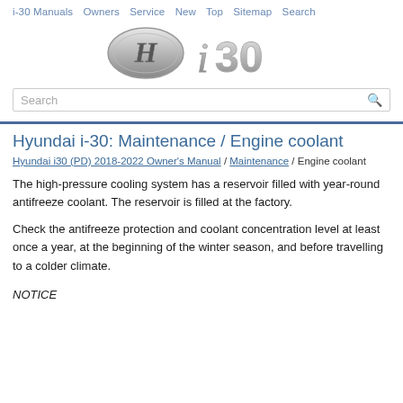i-30 Manuals  Owners  Service  New  Top  Sitemap  Search
[Figure (logo): Hyundai i30 logo with stylized H emblem and 'i 30' text in chrome style]
Hyundai i-30: Maintenance / Engine coolant
Hyundai i30 (PD) 2018-2022 Owner's Manual / Maintenance / Engine coolant
The high-pressure cooling system has a reservoir filled with year-round antifreeze coolant. The reservoir is filled at the factory.
Check the antifreeze protection and coolant concentration level at least once a year, at the beginning of the winter season, and before travelling to a colder climate.
NOTICE